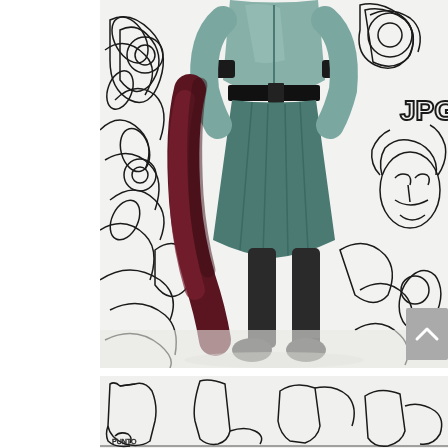[Figure (photo): Fashion editorial photograph of a model wearing a teal/green satin bomber jacket, matching pleated midi skirt with black belt, and dark knee-high boots, holding a dark burgundy fur coat. Background features bold black line drawings of roses, faces, and abstract shapes on white. Text 'JPG' visible in upper right of background illustration.]
[Figure (illustration): Partial view of the same black line art illustration background showing abstract shapes, boots/legs sketches in a cropped strip at the bottom of the page.]